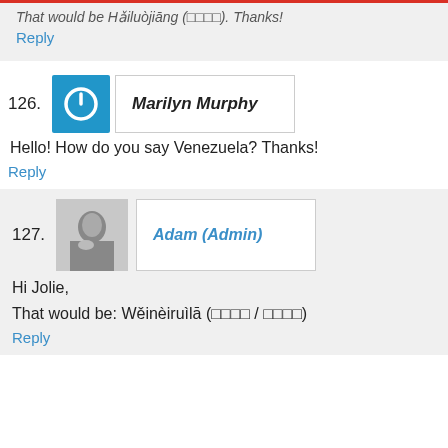That would be Hǎiluòjiāng (□□□□). Thanks!
Reply
126.
[Figure (logo): Blue square avatar with white power button icon]
Marilyn Murphy
Hello! How do you say Venezuela? Thanks!
Reply
127.
[Figure (photo): Black and white photo of a man resting his chin on his hand]
Adam (Admin)
Hi Jolie,
That would be: Wěinèiruìlā (□□□□ / □□□□)
Reply